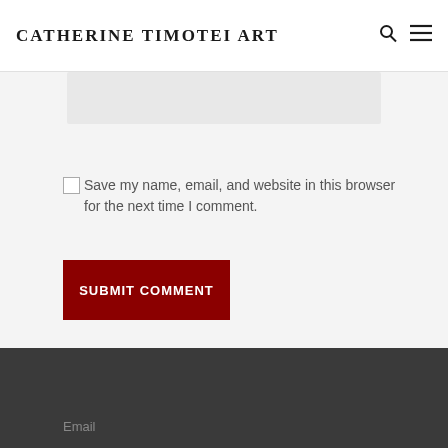CATHERINE TIMOTEI ART
Save my name, email, and website in this browser for the next time I comment.
Submit Comment
Email